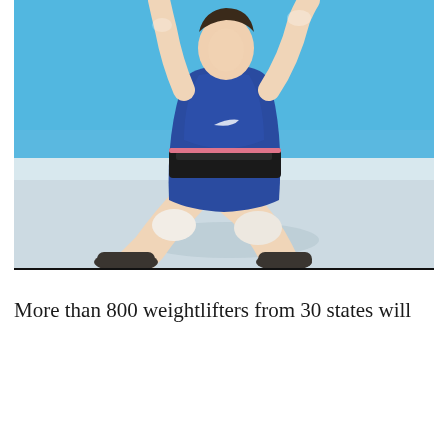[Figure (photo): A weightlifter in a blue Nike uniform with a black belt and white knee wraps, captured mid-lift in a squat position on a white/light blue platform floor, with a bright blue background.]
More than 800 weightlifters from 30 states will